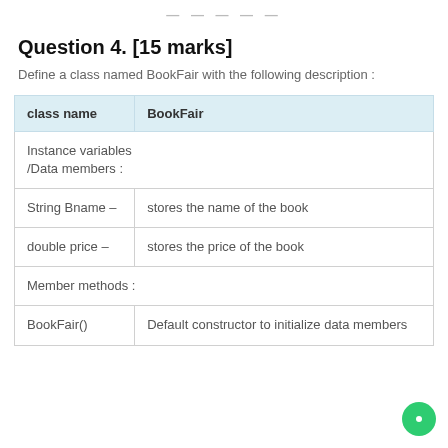— — — — —
Question 4. [15 marks]
Define a class named BookFair with the following description :
| class name | BookFair |
| --- | --- |
| Instance variables
/Data members : |  |
| String Bname – | stores the name of the book |
| double price – | stores the price of the book |
| Member methods : |  |
| BookFair() | Default constructor to initialize data members |